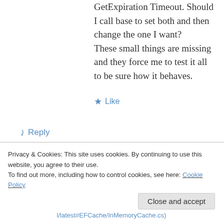GetExpiration Timeout. Should I call base to set both and then change the one I want? These small things are missing and they force me to test it all to be sure how it behaves.
Like
Reply
moozzyk on September 14, 2016 at 2:41 pm
It's up to the backing cache mechanism to
Privacy & Cookies: This site uses cookies. By continuing to use this website, you agree to their use. To find out more, including how to control cookies, see here: Cookie Policy
Close and accept
l/latest#EFCache/InMemoryCache.cs)